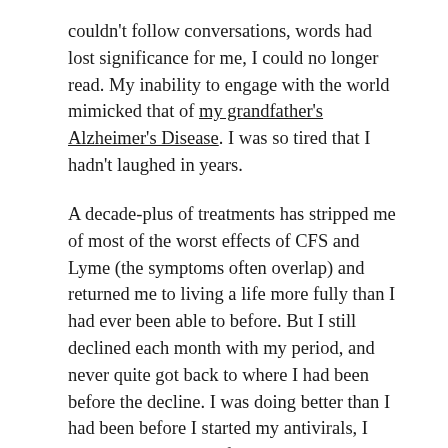couldn't follow conversations, words had lost significance for me, I could no longer read. My inability to engage with the world mimicked that of my grandfather's Alzheimer's Disease. I was so tired that I hadn't laughed in years.
A decade-plus of treatments has stripped me of most of the worst effects of CFS and Lyme (the symptoms often overlap) and returned me to living a life more fully than I had ever been able to before. But I still declined each month with my period, and never quite got back to where I had been before the decline. I was doing better than I had been before I started my antivirals, I told my doctor, but I felt that I would never be doing well—unless I stopped menstruating.
I was doing better than I had been before I started my antivirals, but I felt that I would